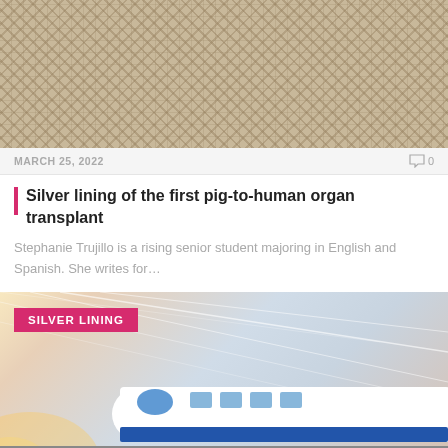[Figure (photo): Close-up photo of a woven beige/tan textured fabric with herringbone or basket-weave pattern]
MARCH 25, 2022
0
Silver lining of the first pig-to-human organ transplant
Stephanie Trujillo is a rising senior student majoring in English and Spanish. She writes for…
[Figure (photo): Photo of a high-speed white and blue bullet train in motion with dynamic speed lines in the background. SILVER LINING badge overlaid in top-left corner.]